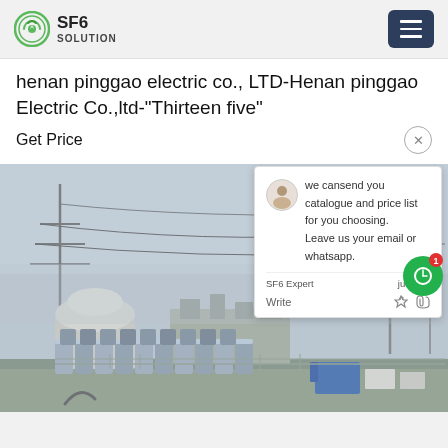SF6 SOLUTION
henan pinggao electric co., LTD-Henan pinggao Electric Co.,ltd-"Thirteen five"
Get Price
we cansend you catalogue and price list for you choosing. Leave us your email or whatsapp.
SF6 Expert   justnow
Write
[Figure (photo): Outdoor electrical substation with SF6 gas cylinders stacked in the foreground, electrical transmission towers and equipment visible in the background, overcast sky.]